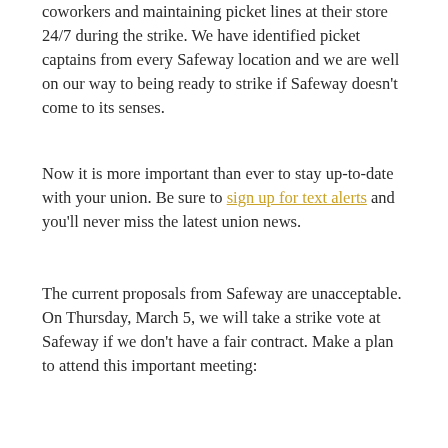coworkers and maintaining picket lines at their store 24/7 during the strike. We have identified picket captains from every Safeway location and we are well on our way to being ready to strike if Safeway doesn't come to its senses.
Now it is more important than ever to stay up-to-date with your union. Be sure to sign up for text alerts and you'll never miss the latest union news.
The current proposals from Safeway are unacceptable. On Thursday, March 5, we will take a strike vote at Safeway if we don't have a fair contract. Make a plan to attend this important meeting: